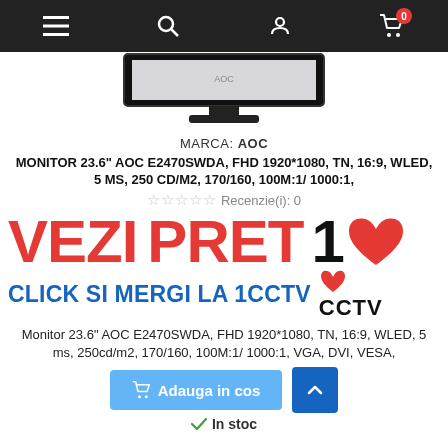[Figure (screenshot): Navigation bar with hamburger menu, search, account, and cart icons on dark background]
[Figure (photo): AOC monitor product image, partially visible at top]
MARCA: AOC
MONITOR 23.6" AOC E2470SWDA, FHD 1920*1080, TN, 16:9, WLED, 5 MS, 250 CD/M2, 170/160, 100M:1/ 1000:1,
Recenzie(i): 0
[Figure (infographic): VEZI PRET 1 heart CLICK SI MERGI LA 1CCTV promotional banner in red and blue text]
Monitor 23.6" AOC E2470SWDA, FHD 1920*1080, TN, 16:9, WLED, 5 ms, 250cd/m2, 170/160, 100M:1/ 1000:1, VGA, DVI, VESA,
Adauga in cos
In stoc